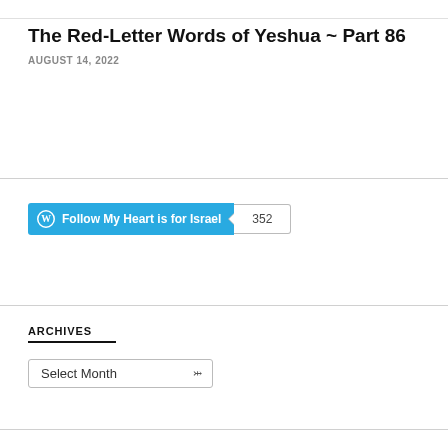The Red-Letter Words of Yeshua ~ Part 86
AUGUST 14, 2022
[Figure (other): WordPress Follow button with label 'Follow My Heart is for Israel' and follower count badge showing 352]
ARCHIVES
Select Month